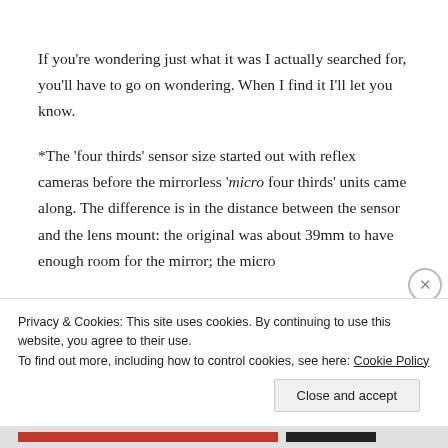If you're wondering just what it was I actually searched for, you'll have to go on wondering. When I find it I'll let you know.
*The 'four thirds' sensor size started out with reflex cameras before the mirrorless 'micro four thirds' units came along. The difference is in the distance between the sensor and the lens mount: the original was about 39mm to have enough room for the mirror; the micro
Privacy & Cookies: This site uses cookies. By continuing to use this website, you agree to their use.
To find out more, including how to control cookies, see here: Cookie Policy
Close and accept